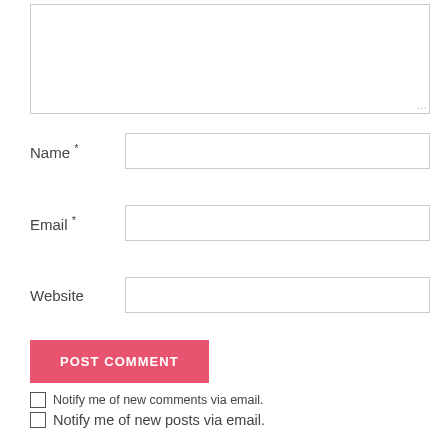[Figure (screenshot): Comment form textarea (empty, resizable)]
Name *
[Figure (screenshot): Name input field (empty)]
Email *
[Figure (screenshot): Email input field (empty)]
Website
[Figure (screenshot): Website input field (empty)]
POST COMMENT
Notify me of new comments via email.
Notify me of new posts via email.